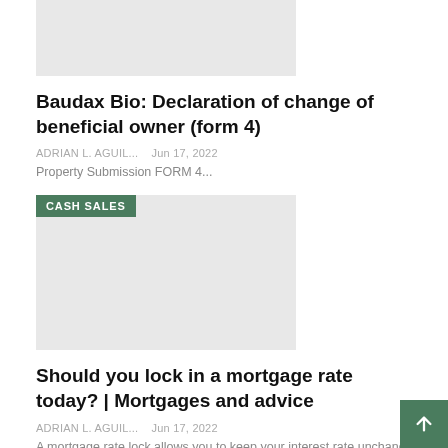[Figure (photo): Gray placeholder image at top]
Baudax Bio: Declaration of change of beneficial owner (form 4)
ADRIAN L. AGUIL...   Jun 17, 2022
Property Submission FORM 4...
[Figure (photo): Gray placeholder image with CASH SALES badge]
Should you lock in a mortgage rate today? | Mortgages and advice
ADRIAN L. AGUIL...   Jun 17, 2022
A mortgage rate lock allows you to keep your interest rate unchanged for a set period of time, usually between the time your offer to purchase is